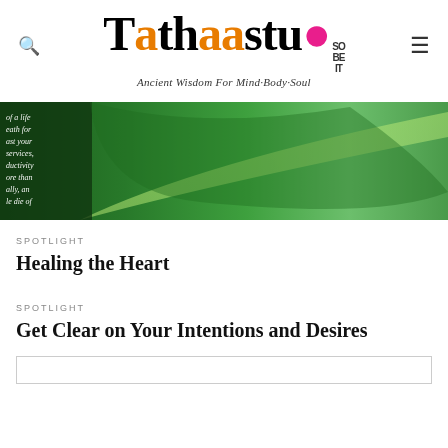Tathaastu — Ancient Wisdom For Mind·Body·Soul
[Figure (photo): A close-up green leaf with overlaid italic text partially visible on the left side, dark green background with lighter leaf vein highlight]
SPOTLIGHT
Healing the Heart
SPOTLIGHT
Get Clear on Your Intentions and Desires